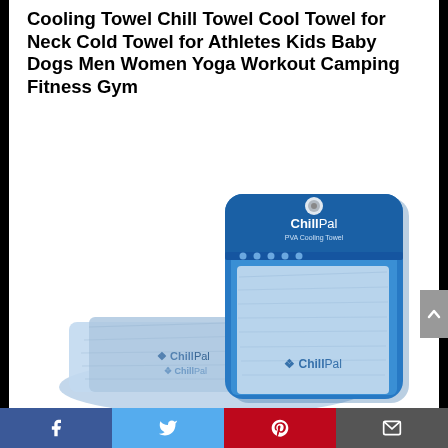Cooling Towel Chill Towel Cool Towel for Neck Cold Towel for Athletes Kids Baby Dogs Men Women Yoga Workout Camping Fitness Gym
[Figure (photo): Product photo of ChillPal PVA Cooling Towel shown in its blue retail packaging (a sealed zipper pouch with ChillPal branding and 'PVA Cooling Towel' label) alongside the towel unfolded and draped in front, light blue in color with ChillPal logo]